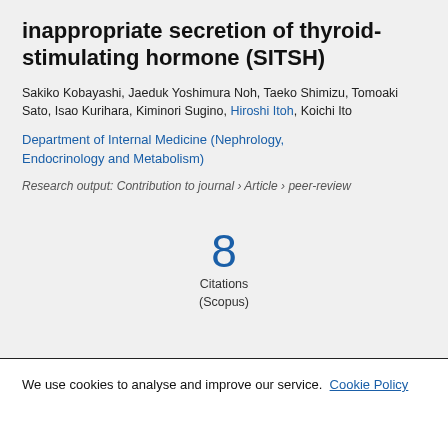inappropriate secretion of thyroid-stimulating hormone (SITSH)
Sakiko Kobayashi, Jaeduk Yoshimura Noh, Taeko Shimizu, Tomoaki Sato, Isao Kurihara, Kiminori Sugino, Hiroshi Itoh, Koichi Ito
Department of Internal Medicine (Nephrology, Endocrinology and Metabolism)
Research output: Contribution to journal › Article › peer-review
[Figure (infographic): Citation count: 8, labeled as Citations (Scopus)]
We use cookies to analyse and improve our service. Cookie Policy